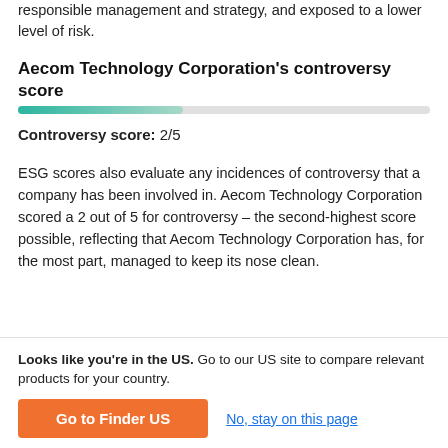responsible management and strategy, and exposed to a lower level of risk.
Aecom Technology Corporation's controversy score
[Figure (other): Horizontal progress bar showing controversy score of 2/5. The left portion (approx 2/5) is filled with a teal/green gradient color, the remainder is light gray.]
Controversy score: 2/5
ESG scores also evaluate any incidences of controversy that a company has been involved in. Aecom Technology Corporation scored a 2 out of 5 for controversy – the second-highest score possible, reflecting that Aecom Technology Corporation has, for the most part, managed to keep its nose clean.
Aecom Technology Corporation share dividends
Looks like you're in the US. Go to our US site to compare relevant products for your country.